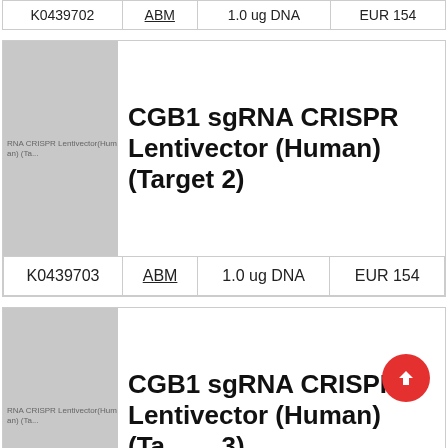| ID | Supplier | Amount | Price |
| --- | --- | --- | --- |
| K0439702 | ABM | 1.0 ug DNA | EUR 154 |
[Figure (photo): Product image placeholder for CGB1 sgRNA CRISPR Lentivector (Human) (Target 2), grey rectangle with small text label]
CGB1 sgRNA CRISPR Lentivector (Human) (Target 2)
| ID | Supplier | Amount | Price |
| --- | --- | --- | --- |
| K0439703 | ABM | 1.0 ug DNA | EUR 154 |
[Figure (photo): Product image placeholder for CGB1 sgRNA CRISPR Lentivector (Human) (Target 3), grey rectangle with small text label]
CGB1 sgRNA CRISPR Lentivector (Human) (Target 3)
| ID | Supplier | Amount | Price |
| --- | --- | --- | --- |
|  |  |  |  |